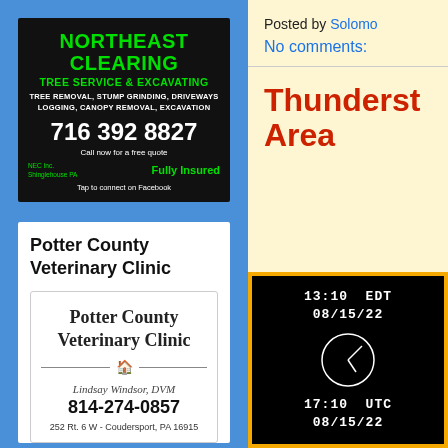[Figure (advertisement): Northeast Clearing Tree Service & Excavating advertisement on black background. Services: tree removal, stump grinding, driveways, logging, canopy removal, excavation. Phone: 716 392 8827. NEC Inc., Shinglehouse PA. Fully Insured. Tap to connect on Facebook.]
Potter County Veterinary Clinic
[Figure (advertisement): Potter County Veterinary Clinic card with house icon, Lindsay Windsor DVM, phone 814-274-0857, address 252 Rt. 6 W - Coudersport, PA 16915]
Posted by Solomon
No comments:
Thunderst... Area
[Figure (other): Weather radar display showing 13:10 EDT 08/15/22 and 17:10 UTC 08/15/22 with a circular radar sweep graphic on black background with orange border]